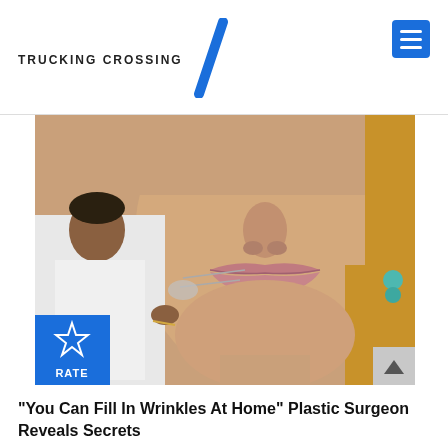TRUCKING CROSSING
[Figure (photo): Close-up photo of a woman's face with full lips, with a doctor or medical professional injecting or treating the area around her lips with a needle. The professional is wearing a white coat. A blue 'RATE' badge with a star icon appears at the bottom-left of the image.]
"You Can Fill In Wrinkles At Home" Plastic Surgeon Reveals Secrets